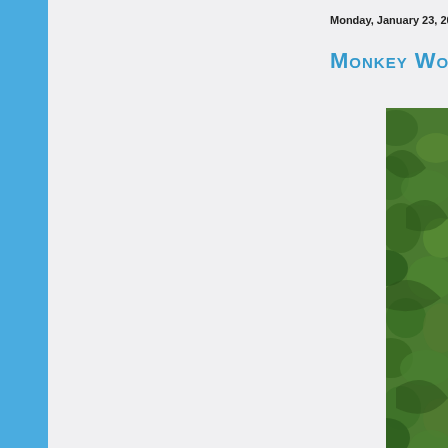Monday, January 23, 2012
Monkey Worl...
[Figure (photo): Green foliage/jungle photo, partially visible on right edge of page]